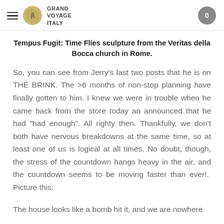GRAND VOYAGE ITALY
Tempus Fugit: Time Flies sculpture from the Veritas della Bocca church in Rome.
So, you can see from Jerry’s last two posts that he is on THE BRINK. The >6 months of non-stop planning have finally gotten to him. I knew we were in trouble when he came back from the store today an announced that he had “had enough”. All righty then. Thankfully, we don’t both have nervous breakdowns at the same time, so at least one of us is logical at all times. No doubt, though, the stress of the countdown hangs heavy in the air, and the countdown seems to be moving faster than ever!.  Picture this:
The house looks like a bomb hit it, and we are nowhere